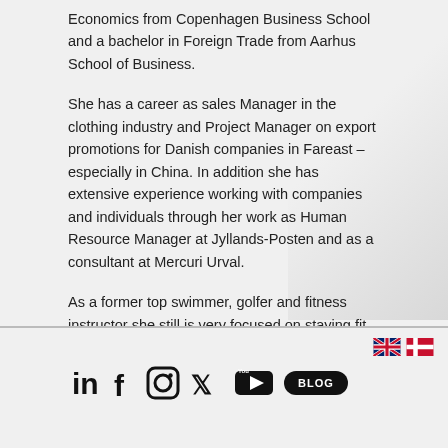Economics from Copenhagen Business School and a bachelor in Foreign Trade from Aarhus School of Business.
She has a career as sales Manager in the clothing industry and Project Manager on export promotions for Danish companies in Fareast – especially in China. In addition she has extensive experience working with companies and individuals through her work as Human Resource Manager at Jyllands-Posten and as a consultant at Mercuri Urval.
As a former top swimmer, golfer and fitness instructor she still is very focused on staying fit – now mainly through running, biking and fitness.
[Figure (logo): Social media icons row: LinkedIn, Facebook, Instagram, Twitter, YouTube, Blog pill button]